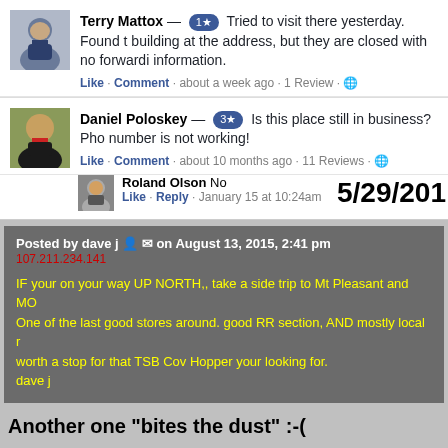[Figure (screenshot): Facebook comment by Terry Mattox with profile photo, badge '1*', text about visiting and finding building closed, with Like/Comment/about a week ago/1 Review actions]
[Figure (screenshot): Facebook comment by Daniel Poloskey with profile photo, badge '3*', text asking if place is still in business and phone number not working, with Like/Comment/about 10 months ago/11 Reviews actions]
[Figure (screenshot): Facebook reply by Roland Olson saying 'No', with reply avatar, Like/Reply/January 15 at 10:24am actions and date stamp 5/29/201]
Posted by dave j on August 13, 2015, 2:41 pm
107.211.234.141
IF your on your way UP NORTH,, take a side trip to Mt Pleasant and MO... One of the last good stores around. good RR section, AND mostly local r... worth a stop for that TSB Cov Hopper your looking for.
dave j
Another one "bites the dust" :-(